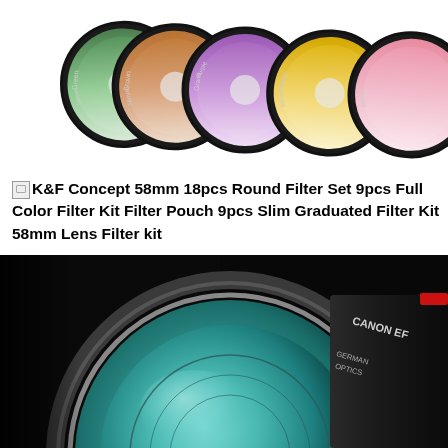[Figure (photo): Partial top view of multiple 58mm camera lens filters fanned out, showing colored graduated filters labeled Green, Brown, Grand Purple, Yellow, and others with black metal ring edges.]
K&F Concept 58mm 18pcs Round Filter Set 9pcs Full Color Filter Kit Filter Pouch 9pcs Slim Graduated Filter Kit 58mm Lens Filter kit
[Figure (photo): Close-up dark photo of a Canon camera lens with teal/green lens coating visible, Canon branding and 'German Optics' text on the lens barrel, with a red ring around the barrel on the right side.]